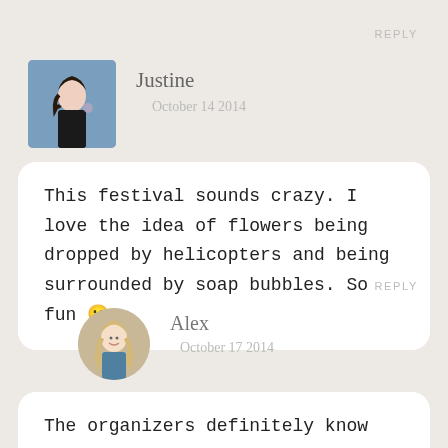REPLY
[Figure (photo): Avatar photo of Justine, a woman with dark hair viewed from the side against a blue background]
Justine
October 14 2014
This festival sounds crazy. I love the idea of flowers being dropped by helicopters and being surrounded by soap bubbles. So fun 🙂
REPLY
[Figure (photo): Circular avatar photo of Alex, a blonde woman smiling]
Alex
October 17 2014
The organizers definitely know how to put on a